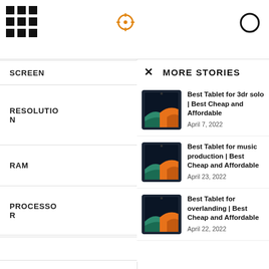[Figure (screenshot): Grid/menu icon in top-left corner of page]
SCREEN
RESOLUTION
RAM
PROCESSOR
STORAGE
MORE STORIES
[Figure (photo): Tablet product image - dark colored tablet with colorful abstract screen]
Best Tablet for 3dr solo | Best Cheap and Affordable
April 7, 2022
[Figure (photo): Tablet product image - dark colored tablet with colorful abstract screen]
Best Tablet for music production | Best Cheap and Affordable
April 23, 2022
[Figure (photo): Tablet product image - dark colored tablet with colorful abstract screen]
Best Tablet for overlanding | Best Cheap and Affordable
April 22, 2022
rear camera, 5MP front camera, WiFi 6
OPERATING